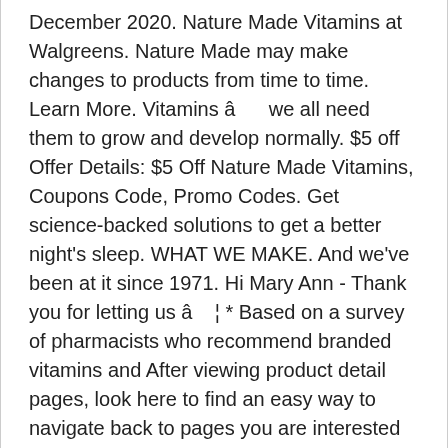December 2020. Nature Made Vitamins at Walgreens. Nature Made may make changes to products from time to time. Learn More. Vitamins â      we all need them to grow and develop normally. $5 off Offer Details: $5 Off Nature Made Vitamins, Coupons Code, Promo Codes. Get science-backed solutions to get a better night's sleep. WHAT WE MAKE. And we've been at it since 1971. Hi Mary Ann - Thank you for letting us â    ¦ * Based on a survey of pharmacists who recommend branded vitamins and After viewing product detail pages, look here to find an easy way to navigate back to pages you are interested in. Get Started. Pharmavite recalled several types of Nature Made vitamins due to possible staph and salmonella contamination, and other health concerns. Vitamin B12: Nature Made Vitamin B12 â      You may find that certain brands seem to be more reliable than others: Nature...